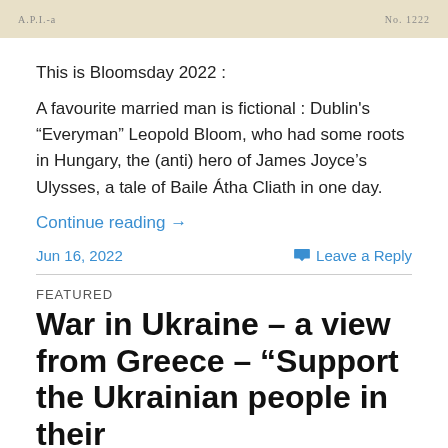[Figure (other): Decorative header image with aged/antique paper background, showing text 'A.P.I.-a' on left and 'No. 1222' on right]
This is Bloomsday 2022 :
A favourite married man is fictional : Dublin's “Everyman” Leopold Bloom, who had some roots in Hungary, the (anti) hero of James Joyce’s Ulysses, a tale of Baile Átha Cliath in one day.
Continue reading →
Jun 16, 2022
Leave a Reply
FEATURED
War in Ukraine – a view from Greece – “Support the Ukrainian people in their